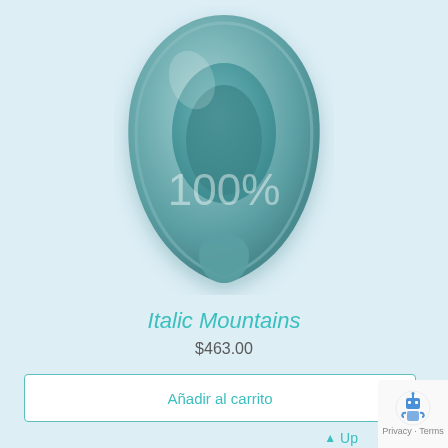[Figure (illustration): A teal/blue-grey guitar pick or toilet seat shaped product shown from top view with a glossy 3D render. Has a rounded teardrop shape with an inner oval cavity. The text '100%' appears faintly overlaid in the center of the product.]
Italic Mountains
$463.00
Añadir al carrito
Up
[Figure (logo): reCAPTCHA badge with robot icon and 'Privacy - Terms' text]